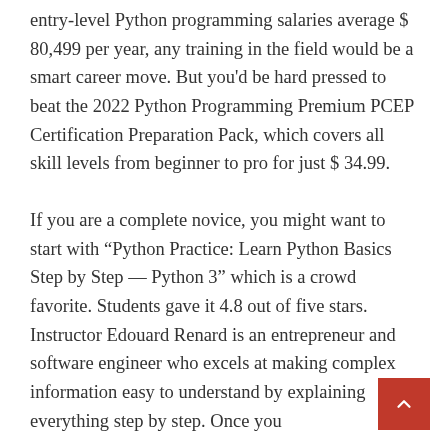entry-level Python programming salaries average $ 80,499 per year, any training in the field would be a smart career move. But you'd be hard pressed to beat the 2022 Python Programming Premium PCEP Certification Preparation Pack, which covers all skill levels from beginner to pro for just $ 34.99.
If you are a complete novice, you might want to start with “Python Practice: Learn Python Basics Step by Step — Python 3” which is a crowd favorite. Students gave it 4.8 out of five stars. Instructor Edouard Renard is an entrepreneur and software engineer who excels at making complex information easy to understand by explaining everything step by step. Once you